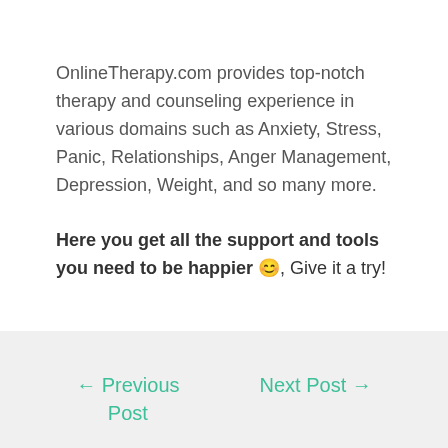OnlineTherapy.com provides top-notch therapy and counseling experience in various domains such as Anxiety, Stress, Panic, Relationships, Anger Management, Depression, Weight, and so many more.
Here you get all the support and tools you need to be happier 😊, Give it a try!
← Previous Post    Next Post →